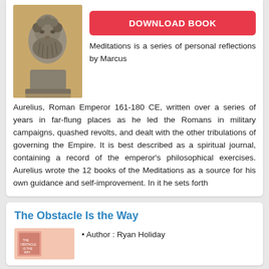[Figure (photo): Bust sculpture of Marcus Aurelius, a bearded man, against a warm tan background]
DOWNLOAD BOOK
Meditations is a series of personal reflections by Marcus Aurelius, Roman Emperor 161-180 CE, written over a series of years in far-flung places as he led the Romans in military campaigns, quashed revolts, and dealt with the other tribulations of governing the Empire. It is best described as a spiritual journal, containing a record of the emperor's philosophical exercises. Aurelius wrote the 12 books of the Meditations as a source for his own guidance and self-improvement. In it he sets forth
The Obstacle Is the Way
[Figure (photo): Book cover thumbnail for The Obstacle Is the Way, pinkish-orange tone]
Author : Ryan Holiday